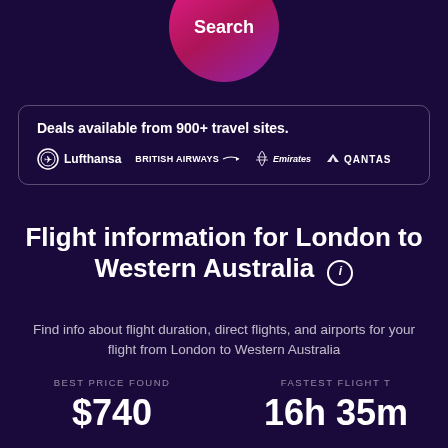Search
Deals available from 900+ travel sites.
[Figure (logo): Airline logos: Lufthansa, British Airways, Emirates, Qantas]
Flight information for London to Western Australia
Find info about flight duration, direct flights, and airports for your flight from London to Western Australia
BEST PRICE FOUND
$740
FASTEST FLIGHT T
16h 35m